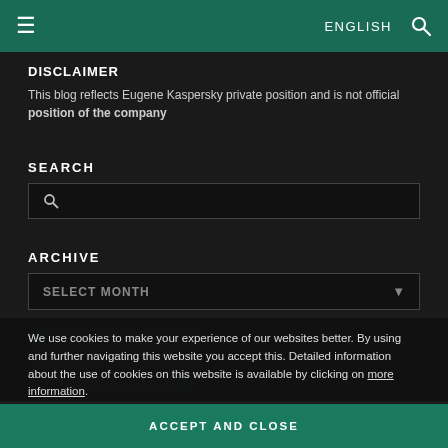≡   ENGLISH 🔍
DISCLAIMER
This blog reflects Eugene Kaspersky private position and is not official position of the company
SEARCH
ARCHIVE
We use cookies to make your experience of our websites better. By using and further navigating this website you accept this. Detailed information about the use of cookies on this website is available by clicking on more information.
ACCEPT AND CLOSE